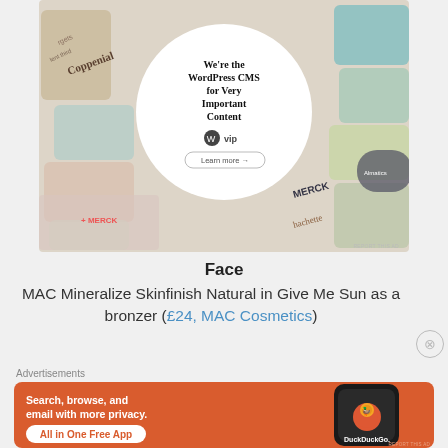[Figure (screenshot): WordPress VIP advertisement with circular overlay on colorful card tiles background. Text reads: We're the WordPress CMS for Very Important Content, with WordPress VIP logo and 'Learn more' button.]
Face
MAC Mineralize Skinfinish Natural in Give Me Sun as a bronzer (£24, MAC Cosmetics)
Advertisements
[Figure (screenshot): DuckDuckGo advertisement on orange background. Text: Search, browse, and email with more privacy. All in One Free App. Shows phone with DuckDuckGo logo.]